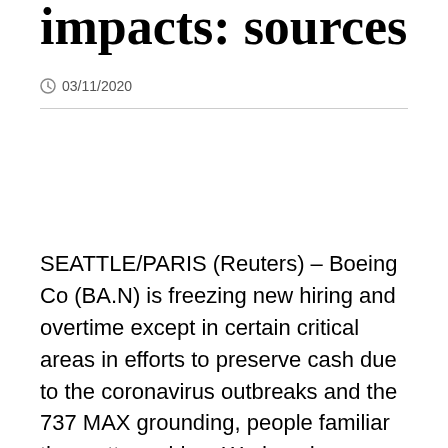impacts: sources
03/11/2020
SEATTLE/PARIS (Reuters) – Boeing Co (BA.N) is freezing new hiring and overtime except in certain critical areas in efforts to preserve cash due to the coronavirus outbreaks and the 737 MAX grounding, people familiar the matter said on Wednesday.